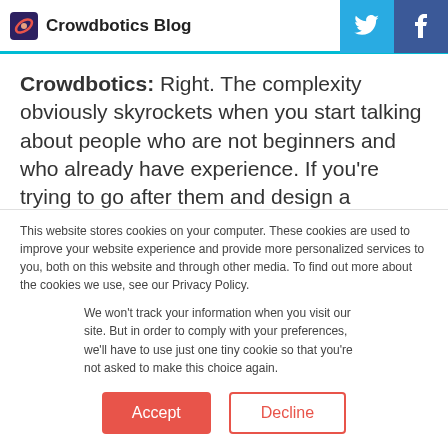Crowdbotics Blog
Crowdbotics: Right. The complexity obviously skyrockets when you start talking about people who are not beginners and who already have experience. If you're trying to go after them and design a valuable process for those people,
This website stores cookies on your computer. These cookies are used to improve your website experience and provide more personalized services to you, both on this website and through other media. To find out more about the cookies we use, see our Privacy Policy.
We won't track your information when you visit our site. But in order to comply with your preferences, we'll have to use just one tiny cookie so that you're not asked to make this choice again.